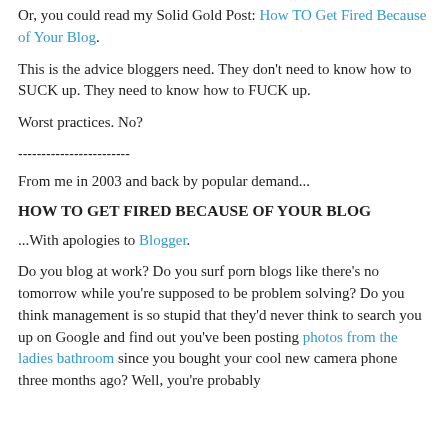Or, you could read my Solid Gold Post: How TO Get Fired Because of Your Blog.
This is the advice bloggers need. They don't need to know how to SUCK up. They need to know how to FUCK up.
Worst practices. No?
------------------------
From me in 2003 and back by popular demand...
HOW TO GET FIRED BECAUSE OF YOUR BLOG
...With apologies to Blogger.
Do you blog at work? Do you surf porn blogs like there's no tomorrow while you're supposed to be problem solving? Do you think management is so stupid that they'd never think to search you up on Google and find out you've been posting photos from the ladies bathroom since you bought your cool new camera phone three months ago? Well, you're probably right. But that doesn't mean you can't be more careful.